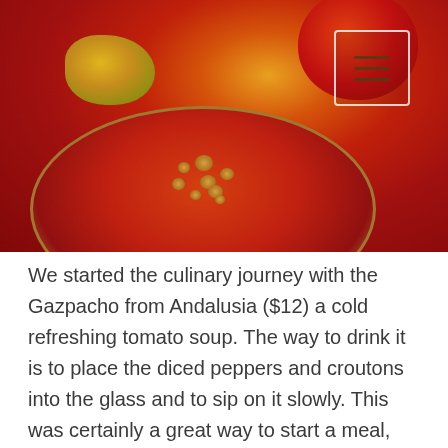[Figure (photo): A close-up photo of a red gazpacho soup served in a bowl/glass on a red plate, with yellow and green garnish (diced peppers), croutons/nuts scattered, and a large tomato visible. A white-bordered hamburger menu icon appears in the top right corner of the image.]
We started the culinary journey with the Gazpacho from Andalusia ($12) a cold refreshing tomato soup. The way to drink it is to place the diced peppers and croutons into the glass and to sip on it slowly. This was certainly a great way to start a meal, with punchy flavours that complements our hot tropical weather.